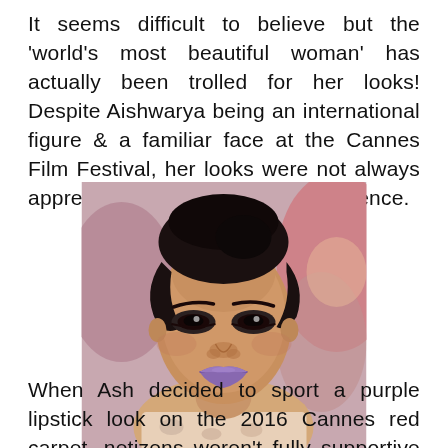It seems difficult to believe but the 'world's most beautiful woman' has actually been trolled for her looks! Despite Aishwarya being an international figure & a familiar face at the Cannes Film Festival, her looks were not always appreciated by the media and audience.
[Figure (photo): Close-up photo of Aishwarya Rai at the Cannes Film Festival wearing purple lipstick and an off-shoulder floral outfit, with blurred crowd in background]
When Ash decided to sport a purple lipstick look on the 2016 Cannes red carpet, netizens weren't fully supportive of her fashion choice. The trolling